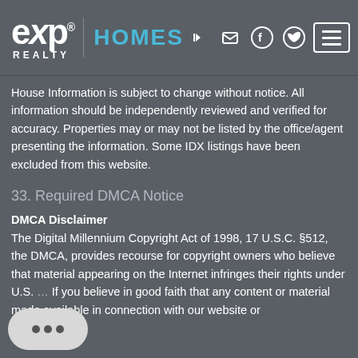eXp REALTY | HOMES
House Information is subject to change without notice. All information should be independently reviewed and verified for accuracy. Properties may or may not be listed by the office/agent presenting the information. Some IDX listings have been excluded from this website.
33. Required DMCA Notice
DMCA Disclaimer
The Digital Millennium Copyright Act of 1998, 17 U.S.C. §512, the DMCA, provides recourse for copyright owners who believe that material appearing on the Internet infringes their rights under U.S. If you believe in good faith that any content or material made available in connection with our website or